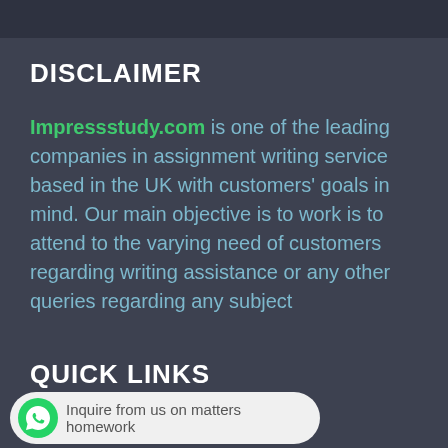DISCLAIMER
Impressstudy.com is one of the leading companies in assignment writing service based in the UK with customers' goals in mind. Our main objective is to work is to attend to the varying need of customers regarding writing assistance or any other queries regarding any subject
QUICK LINKS
Inquire from us on matters homework